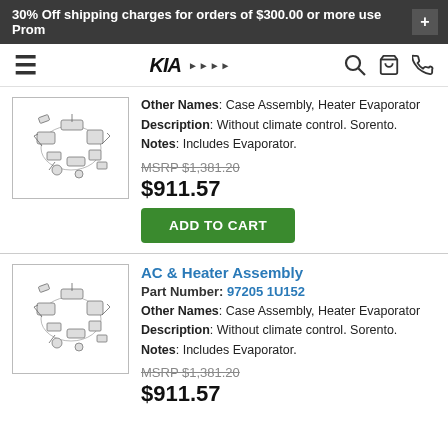30% Off shipping charges for orders of $300.00 or more use Prom
[Figure (screenshot): Kia dealer website navigation bar with hamburger menu, Kia logo, search, cart, and phone icons]
[Figure (illustration): Exploded diagram of AC & Heater Assembly parts (first product)]
Other Names: Case Assembly, Heater Evaporator
Description: Without climate control. Sorento.
Notes: Includes Evaporator.
MSRP $1,381.20
$911.57
ADD TO CART
AC & Heater Assembly
Part Number: 97205 1U152
[Figure (illustration): Exploded diagram of AC & Heater Assembly parts (second product)]
Other Names: Case Assembly, Heater Evaporator
Description: Without climate control. Sorento.
Notes: Includes Evaporator.
MSRP $1,381.20
$911.57